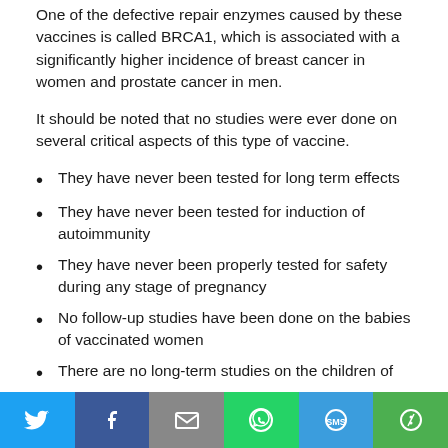One of the defective repair enzymes caused by these vaccines is called BRCA1, which is associated with a significantly higher incidence of breast cancer in women and prostate cancer in men.
It should be noted that no studies were ever done on several critical aspects of this type of vaccine.
They have never been tested for long term effects
They have never been tested for induction of autoimmunity
They have never been properly tested for safety during any stage of pregnancy
No follow-up studies have been done on the babies of vaccinated women
There are no long-term studies on the children of